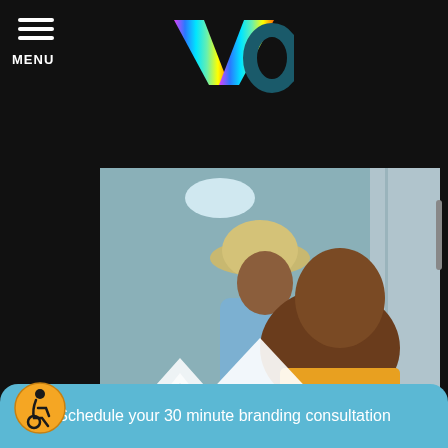[Figure (logo): Colorful V-shape logo with rainbow gradient on dark background]
MENU
[Figure (photo): A smiling man holding a young child wearing a bucket hat and denim overalls who is holding up a toy airplane. A blue arch/chevron graphic overlays the lower portion of the image.]
Schedule your 30 minute branding consultation